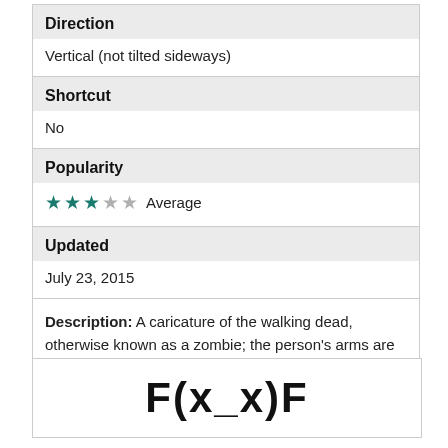Direction
Vertical (not tilted sideways)
Shortcut
No
Popularity
★ ★ ★ ☆ ☆  Average
Updated
July 23, 2015
Description: A caricature of the walking dead, otherwise known as a zombie; the person's arms are positioned similar to the zombies in Michael Jackson's "Thriller" music video.
F(x_x)F